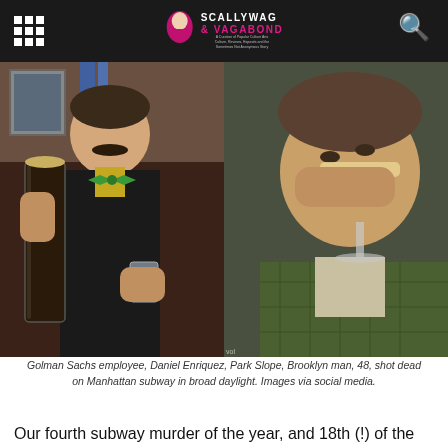SCALLYWAG & VAGABOND
[Figure (photo): Two side-by-side photos of Daniel Enriquez. Left: a man with a mustache wearing a green bow tie holding a dark beer glass and a shot glass, smiling. Right: a man in a green quilted jacket drinking from a wine glass.]
Golman Sachs employee, Daniel Enriquez, Park Slope, Brooklyn man, 48, shot dead on Manhattan subway in broad daylight. Images via social media.
Our fourth subway murder of the year, and 18th (!) of the Covid era. Apparently random attack, like almost all of them, which is why people are so unnerved on the subway.
https://t.co/HgiafBGKTw
— Nicole Gelinas 🇺🇦🇺🇦🇺🇦 (@nicolegelinas) May 22, 2022